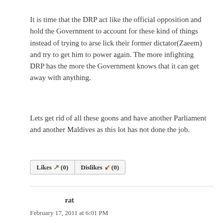It is time that the DRP act like the official opposition and hold the Government to account for these kind of things instead of trying to arse lick their former dictator(Zaeem) and try to get him to power again. The more infighting DRP has the more the Government knows that it can get away with anything.
Lets get rid of all these goons and have another Parliament and another Maldives as this lot has not done the job.
Likes (0)  Dislikes (0)
rat
February 17, 2011 at 6:01 PM